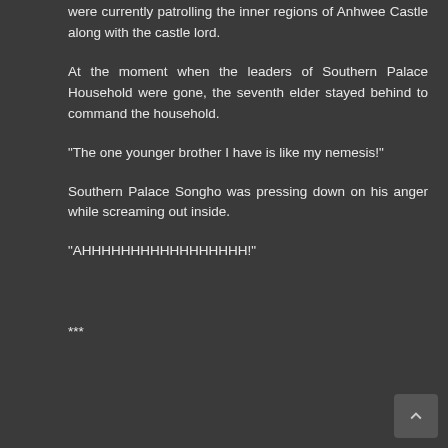were currently patrolling the inner regions of Anhwee Castle along with the castle lord.
At the moment when the leaders of Southern Palace Household were gone, the seventh elder stayed behind to command the household.
“The one younger brother I have is like my nemesis!”
Southern Palace Songho was pressing down on his anger while screaming out inside.
“AHHHHHHHHHHHHHHHHH!”
***